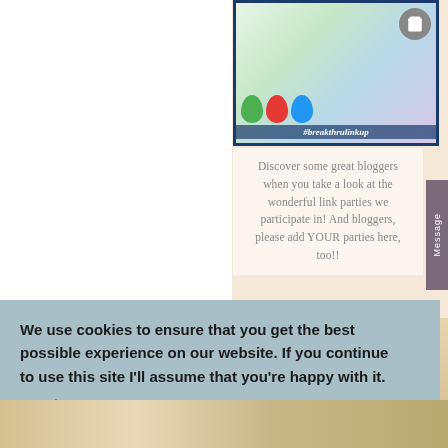[Figure (photo): Breakthru Link Up party image with colored balloons and hashtag #breakthrulinkup, with shopping cart icon overlay]
Discover some great bloggers when you take a look at the wonderful link parties we participate in! And bloggers, please add YOUR parties here, too!!
We use cookies to ensure that you get the best possible experience on our website. If you continue to use this site I'll assume that you're happy with it. Read More OKAY